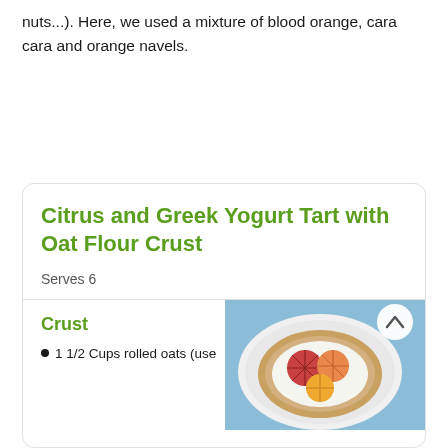nuts...). Here, we used a mixture of blood orange, cara cara and orange navels.
Citrus and Greek Yogurt Tart with Oat Flour Crust
Serves 6
Crust
1 1/2 Cups rolled oats (use
[Figure (photo): Photo of a citrus and Greek yogurt tart with oat flour crust, showing sliced blood oranges and cara cara oranges arranged on top of white yogurt filling in a round tart with a visible oat crust, on a white plate with a light blue background. A white circular scroll-up button is visible in the top right corner.]